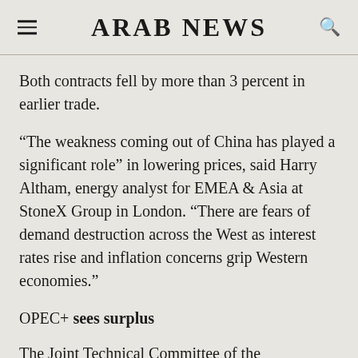ARAB NEWS
Both contracts fell by more than 3 percent in earlier trade.
“The weakness coming out of China has played a significant role” in lowering prices, said Harry Altham, energy analyst for EMEA & Asia at StoneX Group in London. “There are fears of demand destruction across the West as interest rates rise and inflation concerns grip Western economies.”
OPEC+ sees surplus
The Joint Technical Committee of the